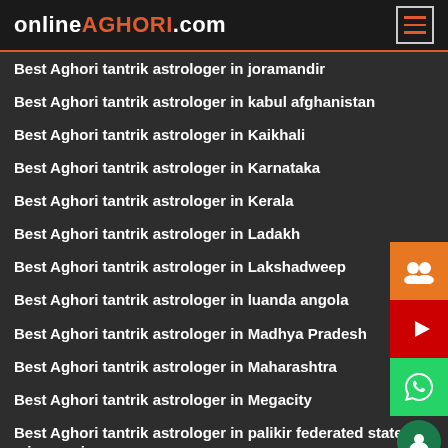onlineAGHORI.com
Best Aghori tantrik astrologer in joramandir
Best Aghori tantrik astrologer in kabul afghanistan
Best Aghori tantrik astrologer in Kaikhali
Best Aghori tantrik astrologer in Karnataka
Best Aghori tantrik astrologer in Kerala
Best Aghori tantrik astrologer in Ladakh
Best Aghori tantrik astrologer in Lakshadweep
Best Aghori tantrik astrologer in luanda angola
Best Aghori tantrik astrologer in Madhya Pradesh
Best Aghori tantrik astrologer in Maharashtra
Best Aghori tantrik astrologer in Megacity
Best Aghori tantrik astrologer in palikir federated states of micronesia
Best Aghori tantrik astrologer in Puducherry
Best Aghori tantrik astrologer in Rajarhat
Best Aghori tantrik astrologer in saint john's antigua & barbuda
Best Aghori tantrik astrologer in Sinthirmore